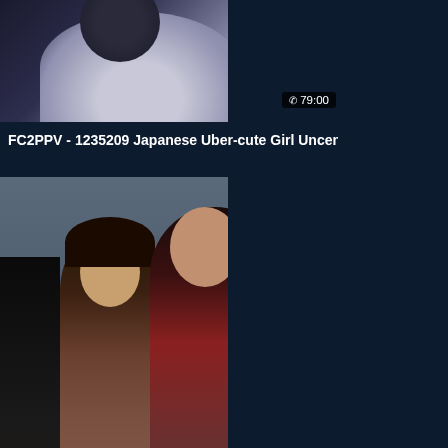[Figure (screenshot): Partial thumbnail of first video card, cropped at top - shows blurred figure in white clothing]
79:00
FC2PPV - 1235209 Japanese Uber-cute Girl Uncensored
[Figure (screenshot): Video thumbnail showing two people sitting at a table in a room - a woman in dark turtleneck and apron, and a bald man in dark jacket]
108:48
Mommy Apologizing 01
[Figure (screenshot): Partial thumbnail of third video card, cropped at bottom - shows a person with long dark hair]